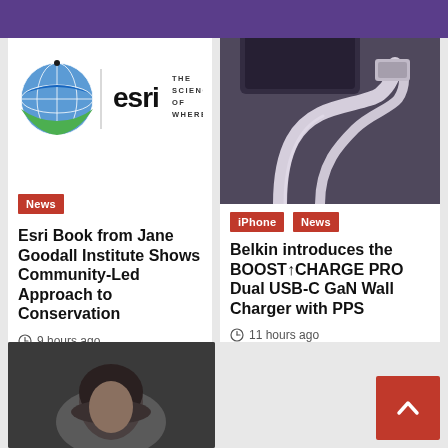nics Net
[Figure (logo): Esri logo with globe icon and tagline 'THE SCIENCE OF WHERE']
News
Esri Book from Jane Goodall Institute Shows Community-Led Approach to Conservation
9 hours ago
[Figure (photo): Belkin BOOST↑CHARGE PRO charger cable plugged into a device, dark background]
iPhone  News
Belkin introduces the BOOST↑CHARGE PRO Dual USB-C GaN Wall Charger with PPS
11 hours ago
[Figure (photo): Partial view of a person's head, dark background, cropped at bottom of page]